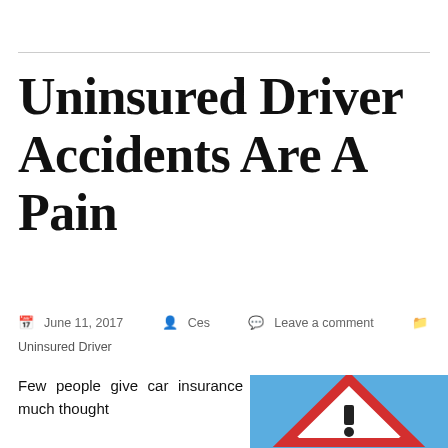Uninsured Driver Accidents Are A Pain
June 11, 2017   Ces   Leave a comment
Uninsured Driver
Few people give car insurance much thought
[Figure (photo): Warning/caution road sign (red triangle with exclamation mark) against a blue sky background]